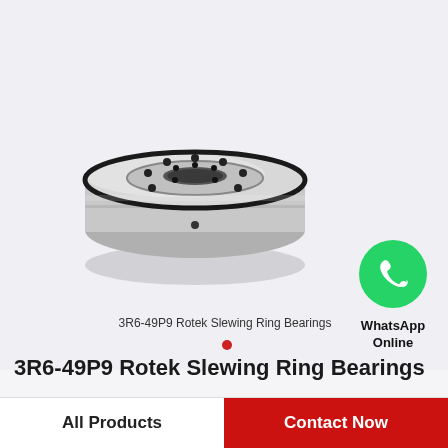[Figure (photo): 3R6-49P9 Rotek Slewing Ring Bearing — circular metallic bearing with bolt holes, black rubber seals, viewed from above at an angle]
3R6-49P9 Rotek Slewing Ring Bearings
[Figure (logo): WhatsApp green phone icon logo with text 'WhatsApp Online']
3R6-49P9 Rotek Slewing Ring Bearings
All Products
Contact Now